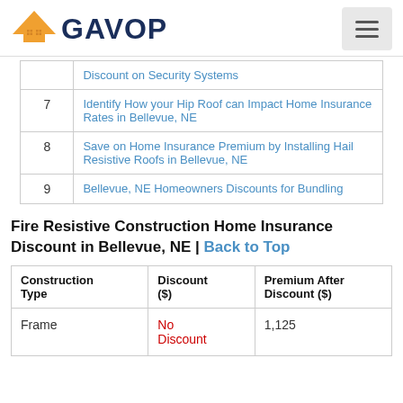[Figure (logo): GAVOP logo with orange house/roof icon and dark blue GAVOP text]
|  |  |
| --- | --- |
|  | Discount on Security Systems |
| 7 | Identify How your Hip Roof can Impact Home Insurance Rates in Bellevue, NE |
| 8 | Save on Home Insurance Premium by Installing Hail Resistive Roofs in Bellevue, NE |
| 9 | Bellevue, NE Homeowners Discounts for Bundling |
Fire Resistive Construction Home Insurance Discount in Bellevue, NE | Back to Top
| Construction Type | Discount ($) | Premium After Discount ($) |
| --- | --- | --- |
| Frame | No Discount | 1,125 |